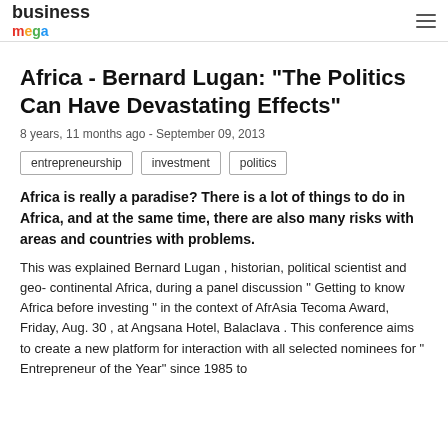business mega
Africa - Bernard Lugan: "The Politics Can Have Devastating Effects"
8 years, 11 months ago - September 09, 2013
entrepreneurship
investment
politics
Africa is really a paradise? There is a lot of things to do in Africa, and at the same time, there are also many risks with areas and countries with problems.
This was explained Bernard Lugan , historian, political scientist and geo- continental Africa, during a panel discussion " Getting to know Africa before investing " in the context of AfrAsia Tecoma Award, Friday, Aug. 30 , at Angsana Hotel, Balaclava . This conference aims to create a new platform for interaction with all selected nominees for " Entrepreneur of the Year" since 1985 to